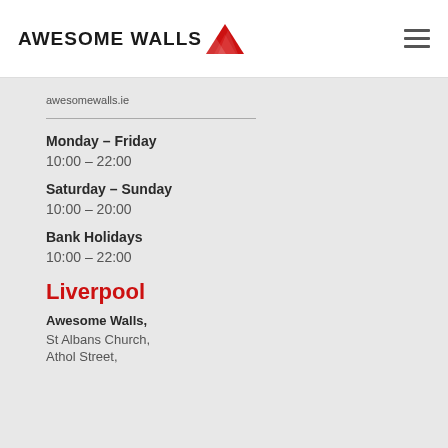[Figure (logo): Awesome Walls logo with mountain graphic]
awesomewalls.ie
Monday – Friday
10:00 – 22:00
Saturday – Sunday
10:00 – 20:00
Bank Holidays
10:00 – 22:00
Liverpool
Awesome Walls,
St Albans Church,
Athol Street,